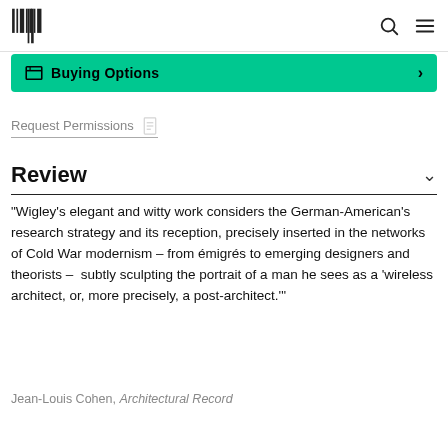[Logo] [Search icon] [Menu icon]
Buying Options →
Request Permissions
Review
"Wigley's elegant and witty work considers the German-American's research strategy and its reception, precisely inserted in the networks of Cold War modernism – from émigrés to emerging designers and theorists –  subtly sculpting the portrait of a man he sees as a 'wireless architect, or, more precisely, a post-architect.'"
Jean-Louis Cohen, Architectural Record